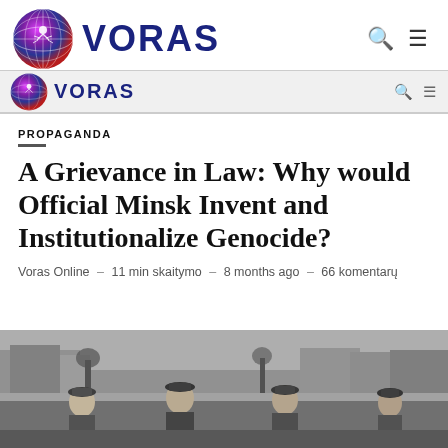VORAS (logo with globe icon, search and menu icons)
VORAS (secondary repeated header bar)
PROPAGANDA
A Grievance in Law: Why would Official Minsk Invent and Institutionalize Genocide?
Voras Online – 11 min skaitymo – 8 months ago – 66 komentarų
[Figure (photo): Black and white historical photograph showing several men standing outdoors near buildings, wearing caps and coats.]